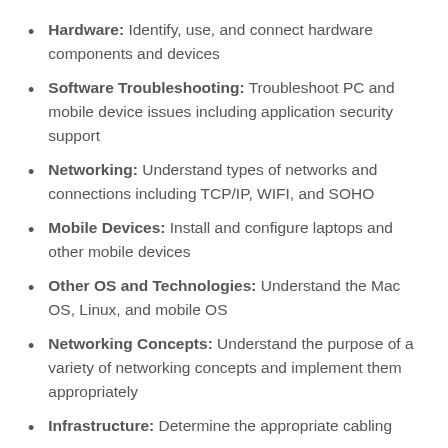Hardware: Identify, use, and connect hardware components and devices
Software Troubleshooting: Troubleshoot PC and mobile device issues including application security support
Networking: Understand types of networks and connections including TCP/IP, WIFI, and SOHO
Mobile Devices: Install and configure laptops and other mobile devices
Other OS and Technologies: Understand the Mac OS, Linux, and mobile OS
Networking Concepts: Understand the purpose of a variety of networking concepts and implement them appropriately
Infrastructure: Determine the appropriate cabling